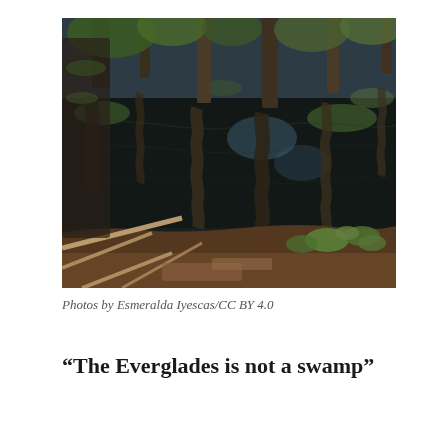[Figure (photo): Photograph of the Everglades showing dark water reflections of cypress trees with wavy, distorted mirror images in the water surface. Foreground has fallen branches and small green plants along the water's edge. Background shows tall cypress tree trunks and green foliage.]
Photos by Esmeralda Iyescas/CC BY 4.0
“The Everglades is not a swamp”